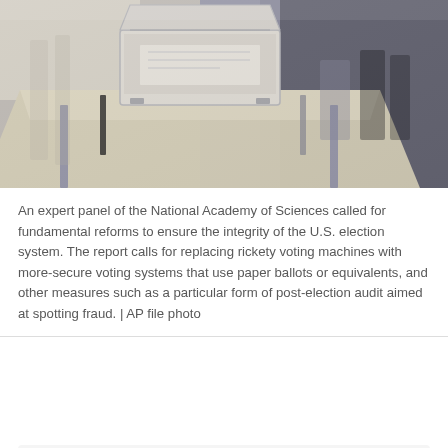[Figure (photo): Photo of a voting booth / ballot box on a metal-legged table, with a pen on a chain, shot from an angle showing blurred chairs or booths in the background. AP file photo.]
An expert panel of the National Academy of Sciences called for fundamental reforms to ensure the integrity of the U.S. election system. The report calls for replacing rickety voting machines with more-secure voting systems that use paper ballots or equivalents, and other measures such as a particular form of post-election audit aimed at spotting fraud. | AP file photo
The Chicago Sun-Times is supported by